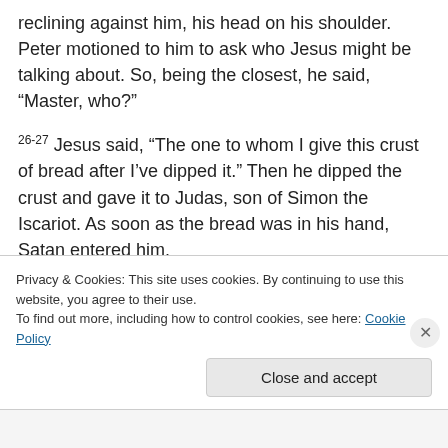reclining against him, his head on his shoulder. Peter motioned to him to ask who Jesus might be talking about. So, being the closest, he said, “Master, who?”
26-27 Jesus said, “The one to whom I give this crust of bread after I’ve dipped it.” Then he dipped the crust and gave it to Judas, son of Simon the Iscariot. As soon as the bread was in his hand, Satan entered him.
“What you must do,” said Jesus, “do. Do it and get it over with.”
Privacy & Cookies: This site uses cookies. By continuing to use this website, you agree to their use.
To find out more, including how to control cookies, see here: Cookie Policy